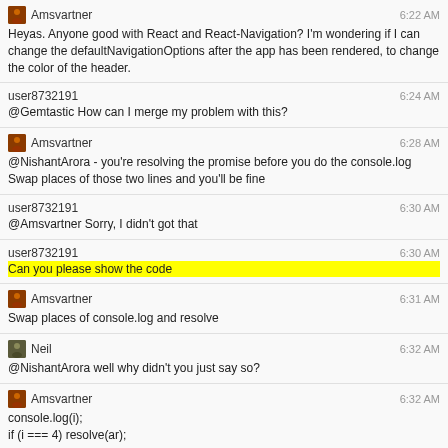Amsvartner 6:22 AM — Heyas. Anyone good with React and React-Navigation? I'm wondering if I can change the defaultNavigationOptions after the app has been rendered, to change the color of the header.
user8732191 6:24 AM — @Gemtastic How can I merge my problem with this?
Amsvartner 6:28 AM — @NishantArora - you're resolving the promise before you do the console.log
Swap places of those two lines and you'll be fine
user8732191 6:30 AM — @Amsvartner Sorry, I didn't got that
user8732191 6:30 AM — Can you please show the code
Amsvartner 6:31 AM — Swap places of console.log and resolve
Neil 6:32 AM — @NishantArora well why didn't you just say so?
Amsvartner 6:32 AM — console.log(i);
if (i === 4) resolve(ar);
Neil 6:32 AM